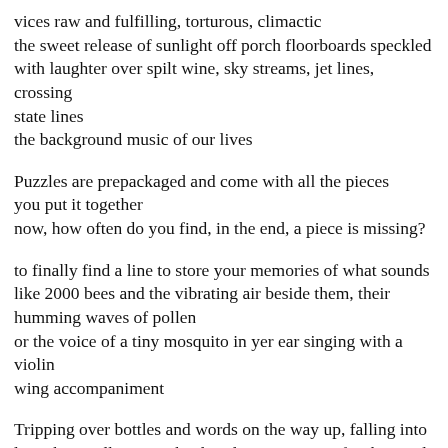vices raw and fulfilling, torturous, climactic
the sweet release of sunlight off porch floorboards speckled
with laughter over spilt wine, sky streams, jet lines, crossing
state lines
the background music of our lives
Puzzles are prepackaged and come with all the pieces
you put it together
now, how often do you find, in the end, a piece is missing?
to finally find a line to store your memories of what sounds
like 2000 bees and the vibrating air beside them, their
humming waves of pollen
or the voice of a tiny mosquito in yer ear singing with a violin
wing accompaniment
Tripping over bottles and words on the way up, falling into
love then walking out the door leaving it open for the wind,
maybe whispers or scents will curl up your skin every goose
bump reminding you of a different dance move
realizing your ear's still bleeding from the change in altitude
and you think about how it'll affect the notes from a flute so